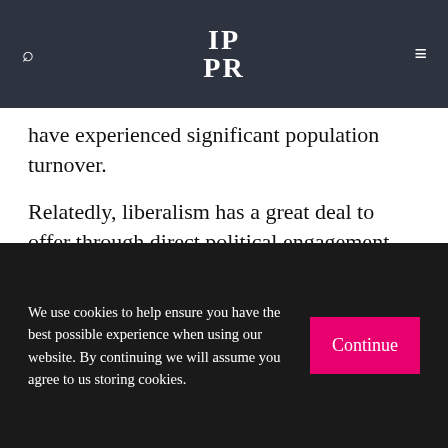IPPR [logo]
have experienced significant population turnover.
Relatedly, liberalism has a great deal to offer through direct political engagement and active citizenship. These efforts not only act as a prophylactic against being taken for granted or ignored but, more importantly, are means of helping individuals and communities to have a say over their own living spaces, workplaces and local environments. Once again, democratic re-
We use cookies to help ensure you have the best possible experience when using our website. By continuing we will assume you agree to us storing cookies.